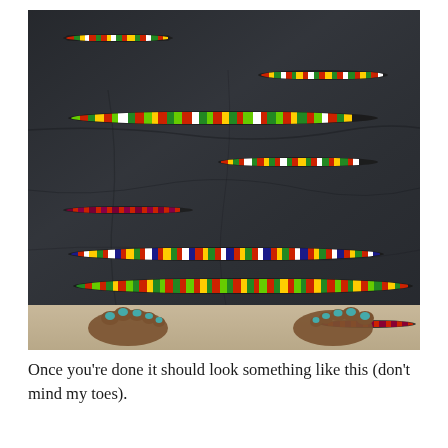[Figure (photo): A dark navy/black fabric garment laid flat, showing horizontal slits cut across it with colorful striped fabric (kente-style, with green, red, yellow, white, black patterns) visible through the slits. The bottom of the image shows the photographer's feet/toes on a beige carpet, with teal nail polish visible.]
Once you’re done it should look something like this (don’t mind my toes).